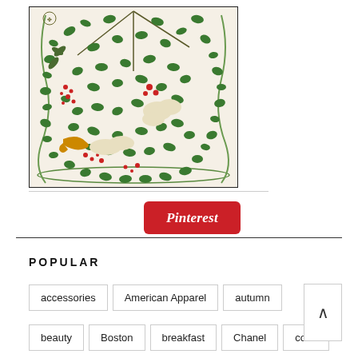[Figure (illustration): Decorative botanical illustration with green leaves, red berries, and floral patterns on a cream background, framed with a dark border.]
[Figure (logo): Pinterest logo button — red rounded rectangle with white cursive 'Pinterest' text.]
POPULAR
accessories
American Apparel
autumn
beauty
Boston
breakfast
Chanel
color